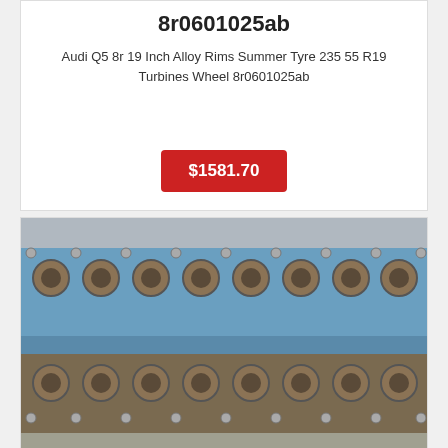8r0601025ab
Audi Q5 8r 19 Inch Alloy Rims Summer Tyre 235 55 R19 Turbines Wheel 8r0601025ab
$1581.70
[Figure (photo): Engine cylinder heads with visible valves and ports, blue painted surface, two rows of cylinder heads shown from above]
1969 Ford Mercury 428 Scj Cobra Jet Heads C8oe-6090-p Mustang Cougar